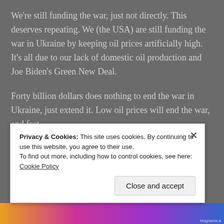We're still funding the war, just not directly. This deserves repeating. We (the USA) are still funding the war in Ukraine by keeping oil prices artificially high. It's all due to our lack of domestic oil production and Joe Biden's Green New Deal.
Forty billion dollars does nothing to end the war in Ukraine, just extend it. Low oil prices will end the war, and fast.
Privacy & Cookies: This site uses cookies. By continuing to use this website, you agree to their use.
To find out more, including how to control cookies, see here: Cookie Policy